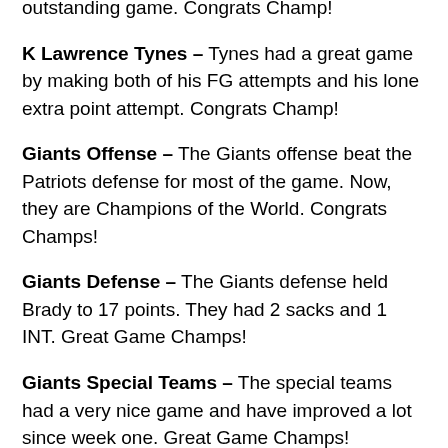outstanding game. Congrats Champ!
K Lawrence Tynes – Tynes had a great game by making both of his FG attempts and his lone extra point attempt. Congrats Champ!
Giants Offense – The Giants offense beat the Patriots defense for most of the game. Now, they are Champions of the World. Congrats Champs!
Giants Defense – The Giants defense held Brady to 17 points. They had 2 sacks and 1 INT. Great Game Champs!
Giants Special Teams – The special teams had a very nice game and have improved a lot since week one. Great Game Champs!
What did you think about the game and Super Bowl XLVI festivities?